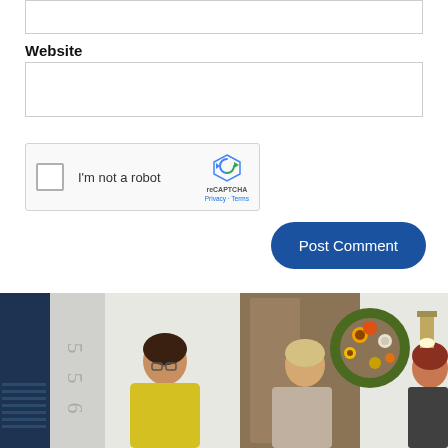Website
[Figure (screenshot): reCAPTCHA widget with checkbox labeled I'm not a robot and Google reCAPTCHA logo with Privacy and Terms links]
Post Comment
[Figure (photo): Group of people standing in front of a house door decorated with a fall floral wreath, house number 556 visible]